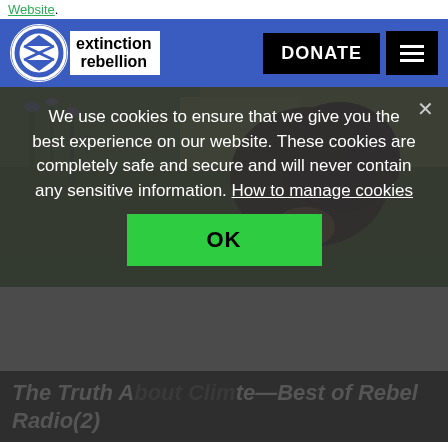Website.
[Figure (logo): Extinction Rebellion logo with circular hourglass symbol and text 'extinction rebellion' on white badge, on blue navigation bar with DONATE button and hamburger menu]
[Figure (photo): Person with curly dark hair bending over orange flower in a green garden setting]
We use cookies to ensure that we give you the best experience on our website. These cookies are completely safe and secure and will never contain any sensitive information. How to manage cookies
OK
The Truth About Climate—Best of Rebel Radio(2)